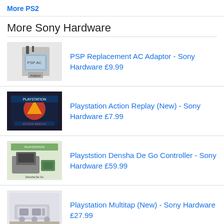More PS2
More Sony Hardware
PSP Replacement AC Adaptor - Sony Hardware £9.99
Playstation Action Replay (New) - Sony Hardware £7.99
Playstemstion Densha De Go Controller - Sony Hardware £59.99
Playstation Multitap (New) - Sony Hardware £27.99